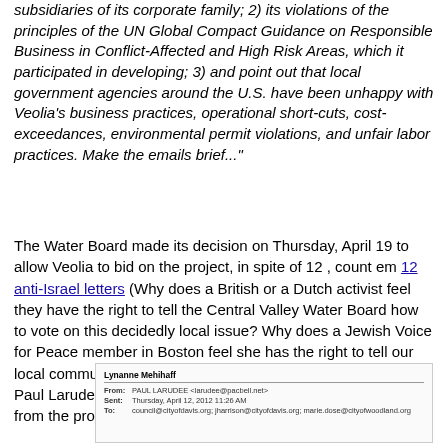corporate conduct, which Veolia has stated applies to all the subsidiaries of its corporate family; 2) its violations of the principles of the UN Global Compact Guidance on Responsible Business in Conflict-Affected and High Risk Areas, which it participated in developing; 3) and point out that local government agencies around the U.S. have been unhappy with Veolia's business practices, operational short-cuts, cost-exceedances, environmental permit violations, and unfair labor practices. Make the emails brief..."
The Water Board made its decision on Thursday, April 19 to allow Veolia to bid on the project, in spite of 12 , count em 12 anti-Israel letters (Why does a British or a Dutch activist feel they have the right to tell the Central Valley Water Board how to vote on this decidedly local issue? Why does a Jewish Voice for Peace member in Boston feel she has the right to tell our local community how to conduct its affairs? ) Local ISM Head Paul Larudee also weighed in- at least he's only an hour ago from the proposed project.
[Figure (screenshot): Email screenshot showing sender Lynanne Mehihaff, from PAUL LARUDEE <larudee@pacbell.net>, sent Thursday April 12 2012 11:26 AM, to council@cityofdavis.org; jharrison@cityofdavis.org; marie.dose@cityofwoodland.org]